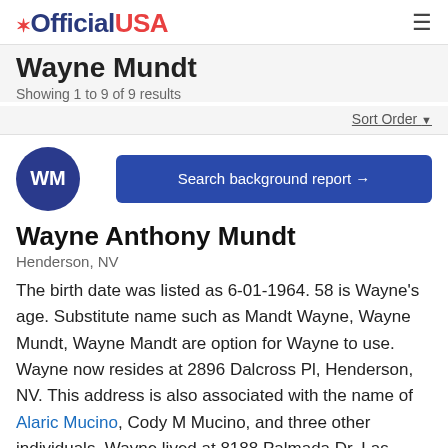OfficialUSA
Wayne Mundt
Showing 1 to 9 of 9 results
Sort Order
[Figure (other): Blue circle avatar with initials WM]
Search background report →
Wayne Anthony Mundt
Henderson, NV
The birth date was listed as 6-01-1964. 58 is Wayne's age. Substitute name such as Mandt Wayne, Wayne Mundt, Wayne Mandt are option for Wayne to use. Wayne now resides at 2896 Dalcross Pl, Henderson, NV. This address is also associated with the name of Alaric Mucino, Cody M Mucino, and three other individuals. Wayne lived at 8188 Palmada Dr, Las Vegas, NV 89123 previously. Wayne has